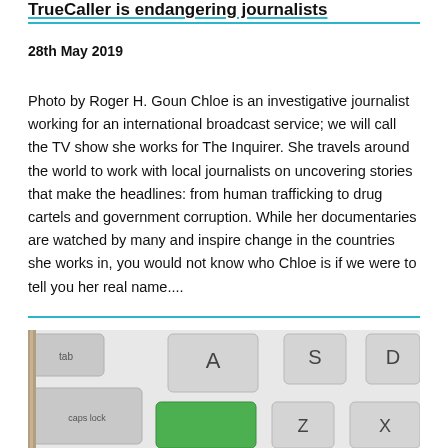TrueCaller is endangering journalists
28th May 2019
Photo by Roger H. Goun Chloe is an investigative journalist working for an international broadcast service; we will call the TV show she works for The Inquirer. She travels around the world to work with local journalists on uncovering stories that make the headlines: from human trafficking to drug cartels and government corruption. While her documentaries are watched by many and inspire change in the countries she works in, you would not know who Chloe is if we were to tell you her real name....
[Figure (photo): Close-up photo of a computer keyboard showing keys including tab, caps lock, A, S, D, X, Z, and a green key]